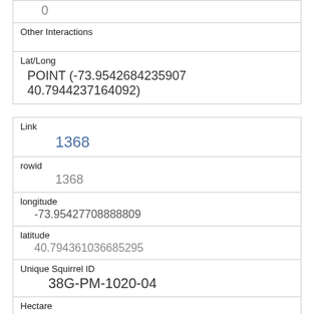| 0 |
| Other Interactions |  |
| Lat/Long | POINT (-73.9542684235907 40.7944237164092) |
| Link | 1368 |
| rowid | 1368 |
| longitude | -73.95427708888809 |
| latitude | 40.794361036685295 |
| Unique Squirrel ID | 38G-PM-1020-04 |
| Hectare | 38G |
| Shift | PM |